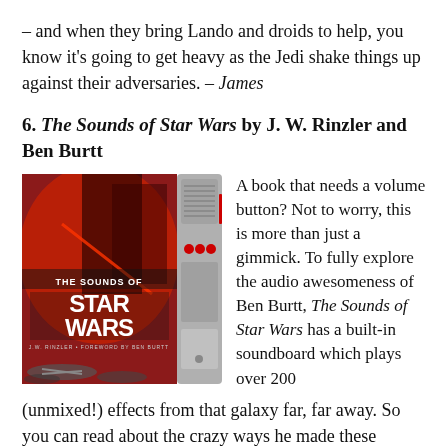– and when they bring Lando and droids to help, you know it's going to get heavy as the Jedi shake things up against their adversaries. – James
6. The Sounds of Star Wars by J. W. Rinzler and Ben Burtt
[Figure (photo): Book cover of 'The Sounds of Star Wars' showing a red-lit battle scene with Darth Vader and stormtroopers, X-wing fighters at the bottom, with an attached grey soundboard device on the right side featuring three red buttons.]
A book that needs a volume button? Not to worry, this is more than just a gimmick. To fully explore the audio awesomeness of Ben Burtt, The Sounds of Star Wars has a built-in soundboard which plays over 200 (unmixed!) effects from that galaxy far, far away. So you can read about the crazy ways he made these sounds,